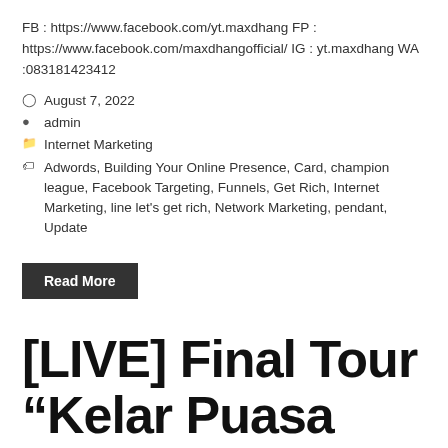FB : https://www.facebook.com/yt.maxdhang FP : https://www.facebook.com/maxdhangofficial/ IG : yt.maxdhang WA :083181423412
August 7, 2022
admin
Internet Marketing
Adwords, Building Your Online Presence, Card, champion league, Facebook Targeting, Funnels, Get Rich, Internet Marketing, line let's get rich, Network Marketing, pendant, Update
Read More
[LIVE] Final Tour “Kelar Puasa Kita Judi Lagi” (DRL ft AMG) ~ AWE VS NE
Privacy & Cookies Policy